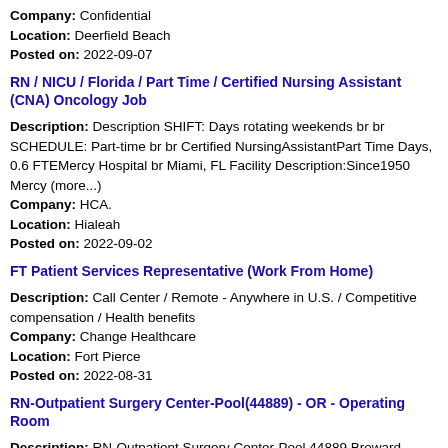Company: Confidential
Location: Deerfield Beach
Posted on: 2022-09-07
RN / NICU / Florida / Part Time / Certified Nursing Assistant (CNA) Oncology Job
Description: Description SHIFT: Days rotating weekends br br SCHEDULE: Part-time br br Certified NursingAssistantPart Time Days, 0.6 FTEMercy Hospital br Miami, FL Facility Description:Since1950 Mercy (more...)
Company: HCA.
Location: Hialeah
Posted on: 2022-09-02
FT Patient Services Representative (Work From Home)
Description: Call Center / Remote - Anywhere in U.S. / Competitive compensation / Health benefits
Company: Change Healthcare
Location: Fort Pierce
Posted on: 2022-08-31
RN-Outpatient Surgery Center-Pool(44889) - OR - Operating Room
Description: RN-Outpatient Surgery Center-Pool 44889 Broward Health Imperial Point dedicated to providing advanced, high-quality healthcare services to the community. The Surgery Center offers several
Company: Broward Health Medical Center